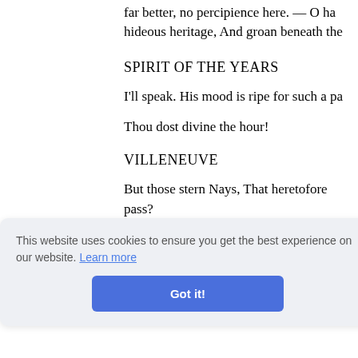far better, no percipience here. — O ha hideous heritage, And groan beneath the
SPIRIT OF THE YEARS
I'll speak. His mood is ripe for such a pa
Thou dost divine the hour!
VILLENEUVE
But those stern Nays, That heretofore pass?
grants ex
This website uses cookies to ensure you get the best experience on our website. Learn more
Got it!